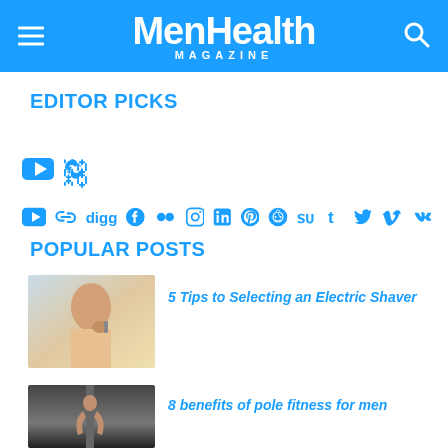MenHealth MAGAZINE
EDITOR PICKS
[Figure (other): Social media icons row: YouTube, share/link, Digg, Facebook, Flickr, Instagram, LinkedIn, Pinterest, Reddit, StumbleUpon, Tumblr, Twitter, Vimeo, VK]
POPULAR POSTS
[Figure (photo): Man shaving with electric razor in mirror]
5 Tips to Selecting an Electric Shaver
[Figure (photo): Person doing pole fitness]
8 benefits of pole fitness for men